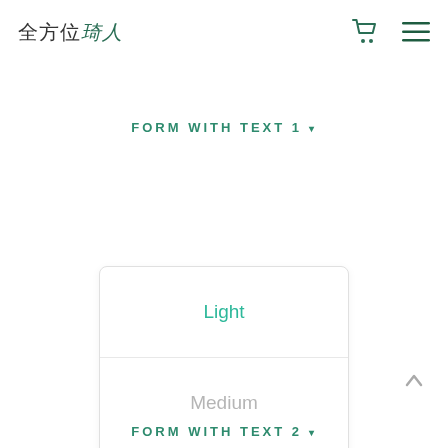全方位琦人
FORM WITH TEXT 1 ▾
Light
Medium
Dark
Image
FORM WITH TEXT 2 ▾